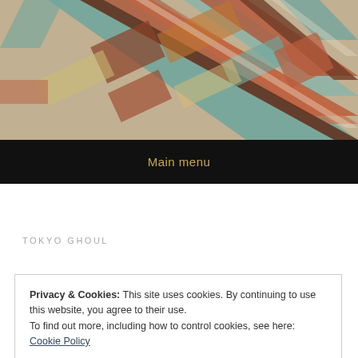[Figure (illustration): Abstract geometric artwork with overlapping diagonal bands and rectangles in teal, orange-red, brown, cream, and yellow tones on a textured background, resembling a vintage geometric quilt or mosaic pattern.]
Main menu
TOKYO GHOUL
Privacy & Cookies: This site uses cookies. By continuing to use this website, you agree to their use.
To find out more, including how to control cookies, see here: Cookie Policy
Close and accept